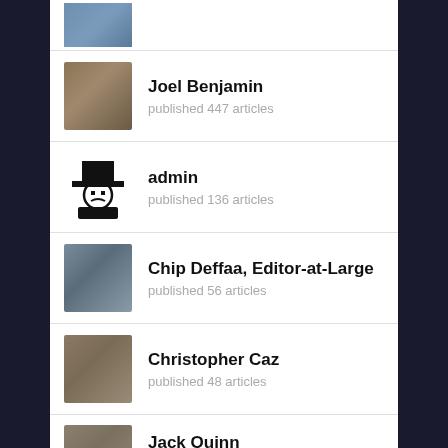[Figure (photo): Partial photo of a person (cropped, top of page)]
Joel Benjamin
published 447 articles
admin
published 136 articles
Chip Deffaa, Editor-at-Large
published 56 articles
Christopher Caz
published 48 articles
Jack Quinn